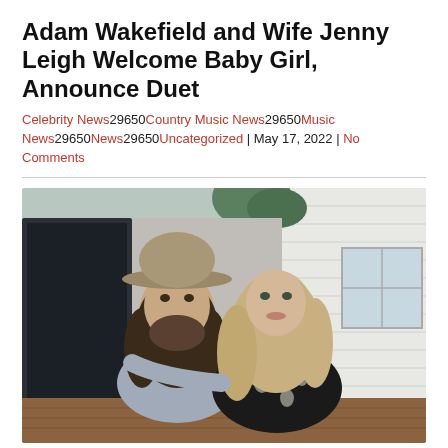Adam Wakefield and Wife Jenny Leigh Welcome Baby Girl, Announce Duet
Celebrity News29650Country Music News29650Music News29650News29650Uncategorized | May 17, 2022 | No Comments
[Figure (photo): Adam Wakefield wearing a wide-brim hat with long hair and a beard, and Jenny Leigh with long blonde hair wearing a black floral top, posed together outdoors on a wooden deck in front of a white siding house.]